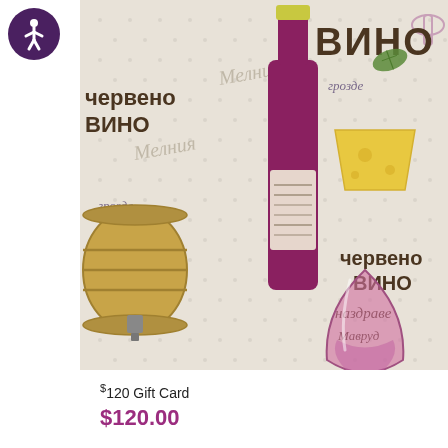[Figure (illustration): Product image of a gift card featuring a wine-themed illustration with Cyrillic text (ВИНО, червено ВИНО, грозде, наздраве, Мавруд, Мелник), wine bottle, wine glass, cheese, wine barrel, and grape leaves on a light dotted background. An accessibility icon (person in circle) appears in the top-left corner.]
$120 Gift Card
$120.00